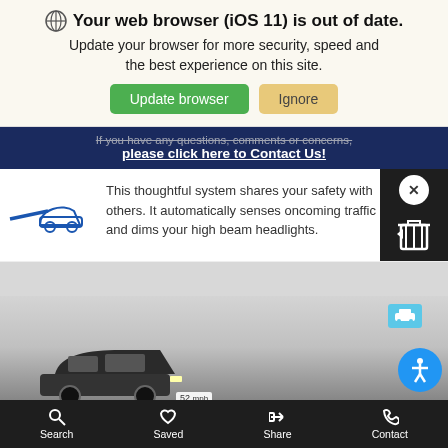Your web browser (iOS 11) is out of date. Update your browser for more security, speed and the best experience on this site.
[Figure (screenshot): Browser update buttons: green 'Update browser' and beige 'Ignore']
If you have any questions, comments or concerns, please click here to Contact Us!
This thoughtful system shares your safety with others. It automatically senses oncoming traffic and dims your high beam headlights.
[Figure (photo): Car driving at night with high beam headlights, speed shown as 52 mph]
Search   Saved   Share   Contact